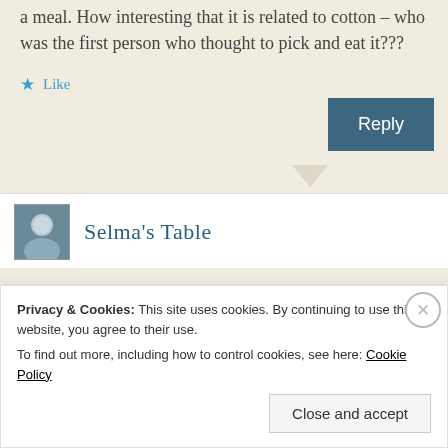a meal. How interesting that it is related to cotton – who was the first person who thought to pick and eat it???
★ Like
Reply
Selma's Table
Privacy & Cookies: This site uses cookies. By continuing to use this website, you agree to their use.
To find out more, including how to control cookies, see here: Cookie Policy
Close and accept